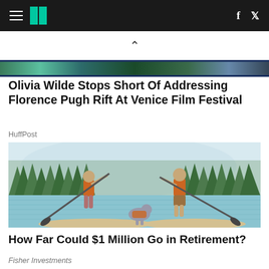HuffPost navigation header with hamburger menu, logo, Facebook and Twitter icons
[Figure (illustration): Partial image strip showing outdoor scene at top of content area]
Olivia Wilde Stops Short Of Addressing Florence Pugh Rift At Venice Film Festival
HuffPost
[Figure (illustration): Illustration of two people paddleboarding on a lake with a dog, surrounded by trees and mountains in the background. Both people wear orange life vests.]
How Far Could $1 Million Go in Retirement?
Fisher Investments